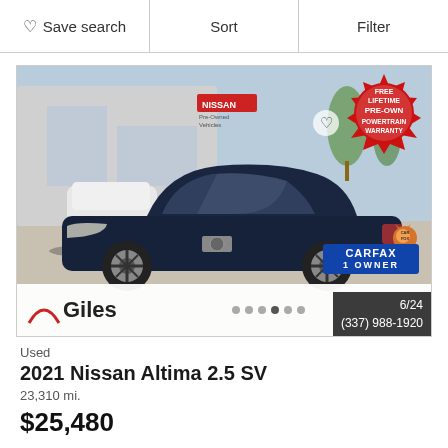Save search   Sort   Filter
[Figure (photo): Dark navy blue 2021 Nissan Altima 2.5 SV parked in a Nissan dealership lot. A Carfax 1 Owner badge is visible in the lower right of the image. A Free Lifetime Pre-Owned Powertrain Warranty badge is in the upper right. Giles dealership logo and phone number (337) 988-1920 appear at the bottom. Photo counter shows 6/24.]
Used
2021 Nissan Altima 2.5 SV
23,310 mi.
$25,480